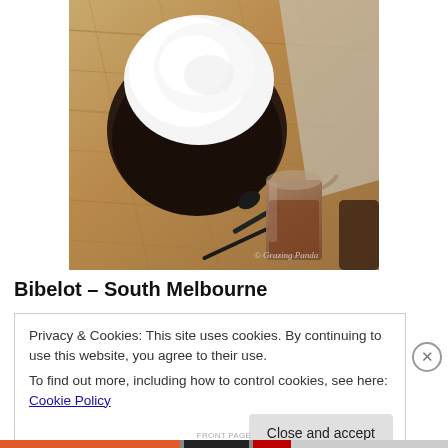[Figure (photo): Overhead photo of a dark ceramic bowl with white foam/cream on top, a small spoon, and a glass carafe/pitcher filled with a brown liquid (possibly coffee or chocolate sauce), on a wooden table surface. Watermark reads '© Grazing Panda'.]
Bibelot – South Melbourne
Privacy & Cookies: This site uses cookies. By continuing to use this website, you agree to their use.
To find out more, including how to control cookies, see here: Cookie Policy